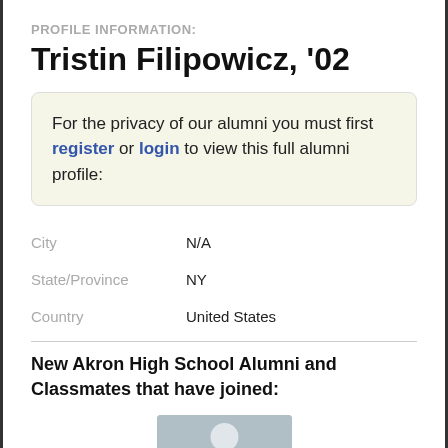PROFILE INFORMATION:
Tristin Filipowicz, '02
For the privacy of our alumni you must first register or login to view this full alumni profile:
| Field | Value |
| --- | --- |
| City | N/A |
| State/Province | NY |
| Country | United States |
New Akron High School Alumni and Classmates that have joined:
[Figure (illustration): Gray placeholder avatar silhouette icon]